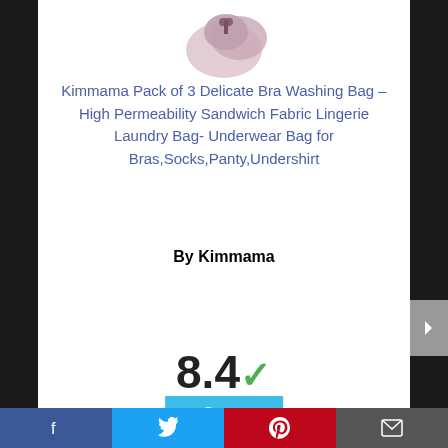[Figure (photo): Product photo of Kimmama laundry bag partially visible at top]
Kimmama Pack of 3 Delicate Bra Washing Bag – High Permeability Sandwich Fabric Lingerie Laundry Bag- Underwear Bag for Bras,Socks,Panty,Undershirt
By Kimmama
View Product
8.4 ✓
Score
Facebook | Twitter | Pinterest | Mail